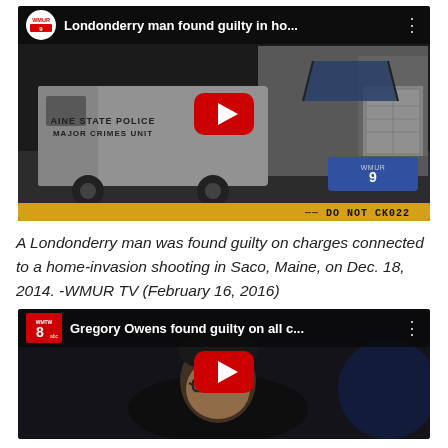[Figure (screenshot): YouTube video thumbnail for WMUR9 news segment titled 'Londonderry man found guilty in ho...' showing Maine State Police Major Crimes Unit van at a house crime scene, with YouTube play button overlay and WMUR9 watermark.]
A Londonderry man was found guilty on charges connected to a home-invasion shooting in Saco, Maine, on Dec. 18, 2014. -WMUR TV (February 16, 2016)
[Figure (screenshot): YouTube video thumbnail for WMTW 8abc news segment titled 'Gregory Owens found guilty on all c...' showing a man with glasses in a dark setting.]